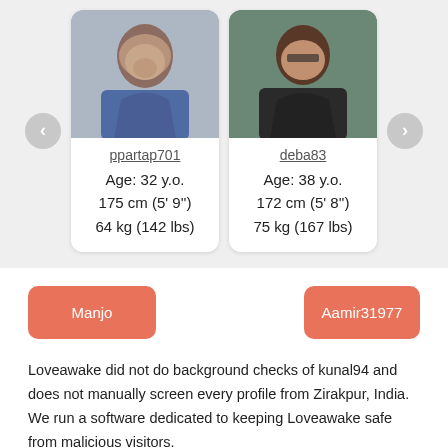[Figure (photo): Profile card for ppartap701: photo of man with beard, Age: 32 y.o., 175 cm (5' 9"), 64 kg (142 lbs)]
[Figure (photo): Profile card for deba83: photo of man with glasses, Age: 38 y.o., 172 cm (5' 8"), 75 kg (167 lbs)]
Manjo
Aamir31977
Loveawake did not do background checks of kunal94 and does not manually screen every profile from Zirakpur, India. We run a software dedicated to keeping Loveawake safe from malicious visitors.